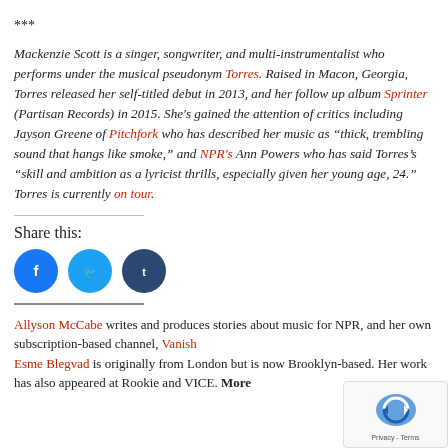***
Mackenzie Scott is a singer, songwriter, and multi-instrumentalist who performs under the musical pseudonym Torres. Raised in Macon, Georgia, Torres released her self-titled debut in 2013, and her follow up album Sprinter (Partisan Records) in 2015. She's gained the attention of critics including Jayson Greene of Pitchfork who has described her music as “thick, trembling sound that hangs like smoke,” and NPR's Ann Powers who has said Torres's “skill and ambition as a lyricist thrills, especially given her young age, 24.” Torres is currently on tour.
Share this:
[Figure (other): Three social share icon buttons: Facebook (blue circle), Twitter (light blue circle), Tumblr (dark blue circle)]
Allyson McCabe writes and produces stories about music for NPR, and her own subscription-based channel, Vanish... Esme Blegvad is originally from London but is now Brooklyn-based. Her work has also appeared at Rookie and VICE. More